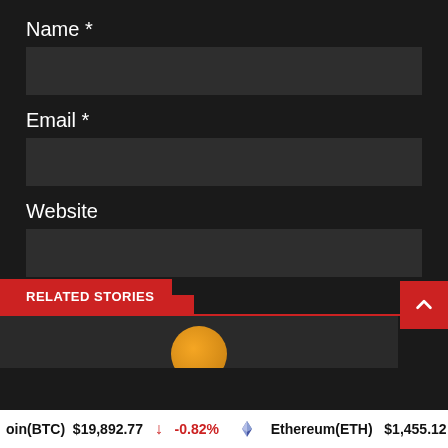Name *
Email *
Website
POST COMMENT
RELATED STORIES
oin(BTC)  $19,892.77  ↓  -0.82%   Ethereum(ETH)  $1,455.12